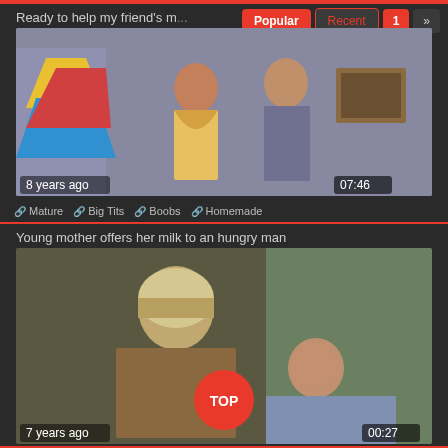Ready to help my friend's m...
[Figure (photo): Two people standing close together indoors, woman in floral dress, man in grey shirt, colorful decorations on wall]
8 years ago
07:46
Mature
Big Tits
Boobs
Homemade
Young mother offers her milk to an hungry man
[Figure (photo): Two people outdoors in period costume, one person with head covering holding another person]
7 years ago
00:27